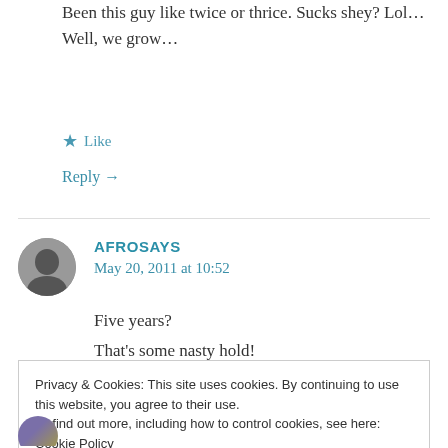Been this guy like twice or thrice. Sucks shey? Lol…
Well, we grow…
★ Like
Reply →
[Figure (photo): Circular avatar photo of commenter]
AFROSAYS
May 20, 2011 at 10:52
Five years?
That's some nasty hold!
Privacy & Cookies: This site uses cookies. By continuing to use this website, you agree to their use.
To find out more, including how to control cookies, see here: Cookie Policy
Close and accept
[Figure (photo): Partial circular avatar at bottom of page]